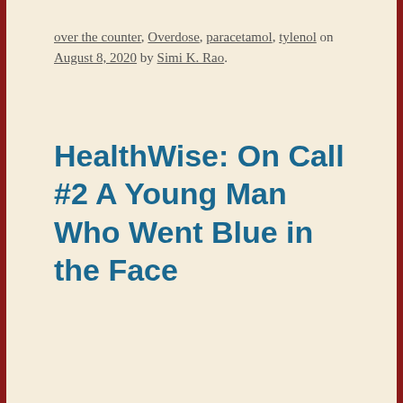over the counter, Overdose, paracetamol, tylenol on August 8, 2020 by Simi K. Rao.
HealthWise: On Call #2 A Young Man Who Went Blue in the Face